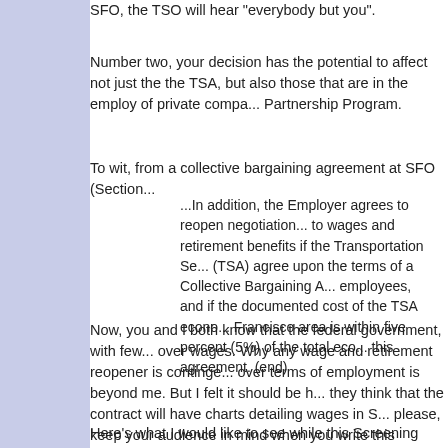SFO, the TSO will hear "everybody but you".
Number two, your decision has the potential to affect not just the TSA, but also those that are in the employ of private compa... Partnership Program.
To wit, from a collective bargaining agreement at SFO (Section...
...In addition, the Employer agrees to reopen negotiation to wages and retirement benefits if the Transportation Se... (TSA) agree upon the terms of a Collective Bargaining A... employees, and if the documented cost of the TSA econo... Francisco area is within five percent (5%) of the total eco... this agreement. (end)
Now, you and I both know that the federal government, with few over wages. Why any wage and retirement reopener is continge... over terms of employment is beyond me. But I felt it should be... they think that the contract will have charts detailing wages in S... please, keep your audience in mind when you write this report.... of misinformation.
Here's what I would like to see while this Screening Partnership... to the stepchildren act: equivalent wages and benefits as man...